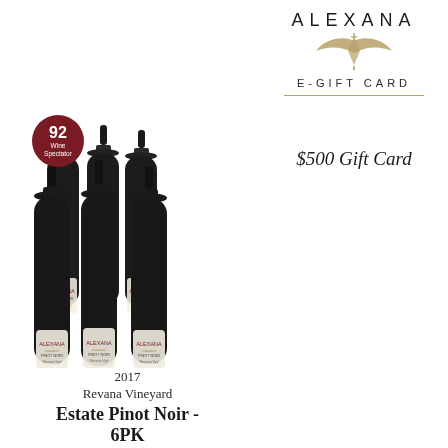[Figure (logo): Alexana winery logo with stylized bird/angel symbol and text ALEXANA above E-GIFT CARD]
$500 Gift Card
[Figure (photo): Six dark wine bottles arranged in a group, with a dark red circular badge showing '92 Wine Spectator' rating]
2017
Revana Vineyard
Estate Pinot Noir -
6PK